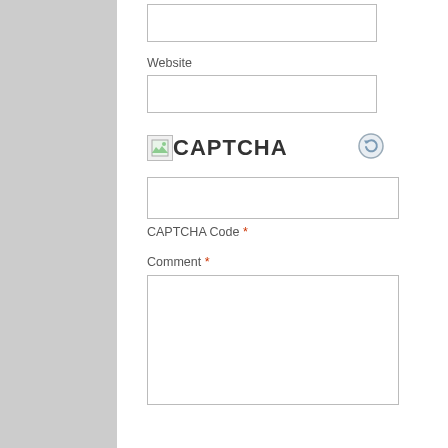[Figure (screenshot): Empty text input field (website URL input)]
Website
[Figure (screenshot): Empty text input field (website input box)]
[Figure (screenshot): CAPTCHA image with broken image icon and CAPTCHA text label, plus a refresh icon]
[Figure (screenshot): Empty text input field for CAPTCHA code]
CAPTCHA Code *
Comment *
[Figure (screenshot): Large empty textarea for comment input]